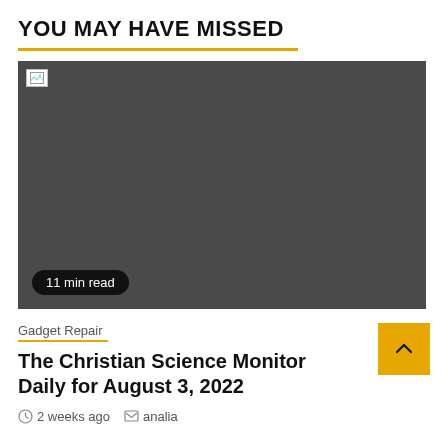YOU MAY HAVE MISSED
[Figure (photo): Dark gray placeholder image with broken image icon in top-left corner and '11 min read' badge in bottom-left]
Gadget Repair
The Christian Science Monitor Daily for August 3, 2022
2 weeks ago   analia